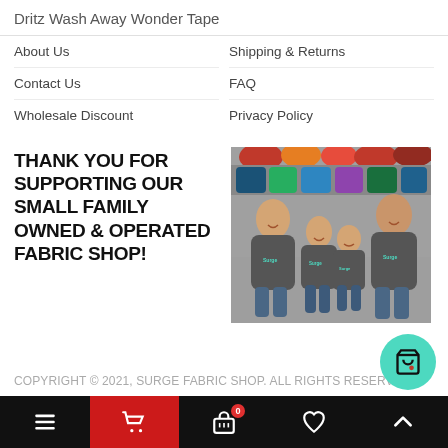Dritz Wash Away Wonder Tape
About Us
Shipping & Returns
Contact Us
FAQ
Wholesale Discount
Privacy Policy
THANK YOU FOR SUPPORTING OUR SMALL FAMILY OWNED & OPERATED FABRIC SHOP!
[Figure (photo): Family of four posing in front of colorful fabric rolls in a fabric shop, wearing matching dark grey Surge Fabric Shop branded t-shirts]
COPYRIGHT © 2021, SURGE FABRIC SHOP. ALL RIGHTS RESERVED.
Bottom navigation bar with menu, cart, basket (0), heart, and up arrow icons